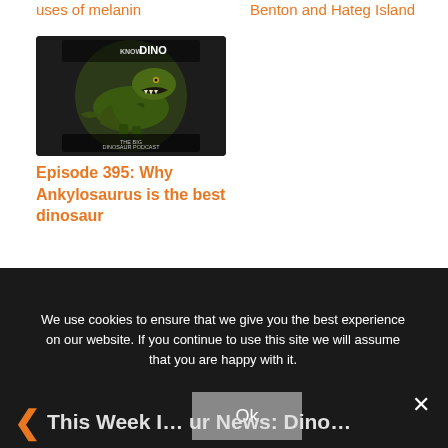uses of melanin
Benton and Hateg Island
[Figure (photo): Circular podcast thumbnail image showing a T-Rex dinosaur with text 'KNOW DINO' and 'THE BIG DINOSAUR PODCAST' on a dark background]
Episode 395: Why Ankylosaurus is the best dinosaur
We use cookies to ensure that we give you the best experience on our website. If you continue to use this site we will assume that you are happy with it.
Ok
×
This Week I… ur News: Dino…